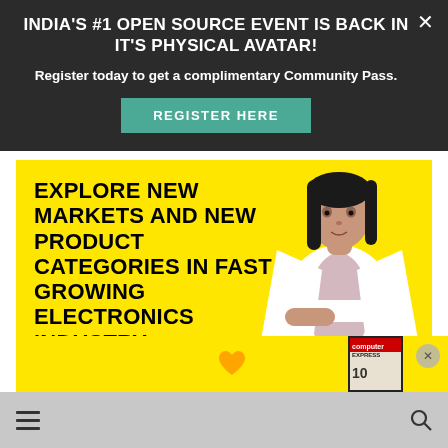INDIA'S #1 OPEN SOURCE EVENT IS BACK IN IT'S PHYSICAL AVATAR!
Register today to get a complimentary Community Pass.
REGISTER HERE
[Figure (infographic): Yellow background advertisement with bold black text reading 'EXPLORE NEW MARKETS AND NEW PRODUCT CATEGORIES IN FAST GROWING ELECTRONICS INDUSTRY' and a woman in a white blazer with arms crossed on the right side.]
[Figure (infographic): Bottom yellow strip ad with a heart shape and Express magazine cover, with a close (X) button.]
[Figure (infographic): Bottom navigation bar with hamburger menu icon on left and search icon on right, gray background.]